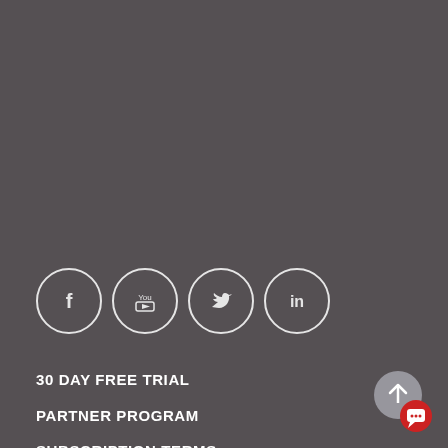[Figure (illustration): Social media icons in circles: Facebook, YouTube, Twitter, LinkedIn]
30 DAY FREE TRIAL
PARTNER PROGRAM
SUBSCRIPTION TERMS
ABOUT US
[Figure (illustration): Back to top button - grey circle with up arrow, and a red circle with chat icon]